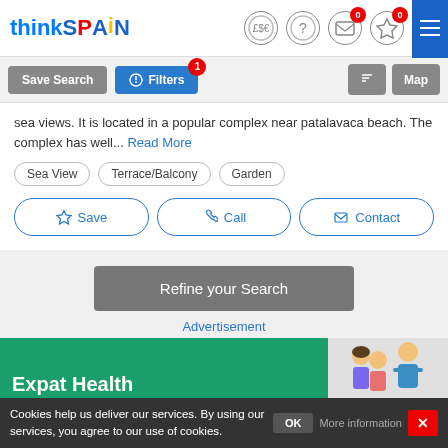thinkSPAIN
sea views. It is located in a popular complex near patalavaca beach. The complex has well... Read More
Sea View
Terrace/Balcony
Garden
Save | Call | Contact
Refine your Search
Advertisement
[Figure (illustration): Expat Health insurance advertisement banner with green background and illustration of family]
Cookies help us deliver our services. By using our services, you agree to our use of cookies. OK More information